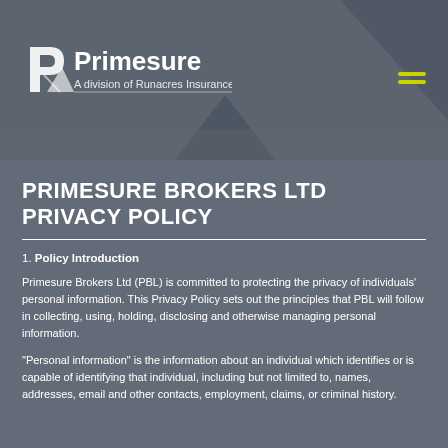Primesure – A division of Runacres Insurance
PRIMESURE BROKERS LTD PRIVACY POLICY
1. Policy Introduction
Primesure Brokers Ltd (PBL) is committed to protecting the privacy of individuals' personal information. This Privacy Policy sets out the principles that PBL will follow in collecting, using, holding, disclosing and otherwise managing personal information.
"Personal information" is the information about an individual which identifies or is capable of identifying that individual, including but not limited to, names, addresses, email and other contacts, employment, claims, or criminal history.